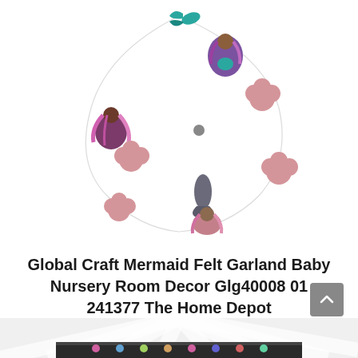[Figure (photo): A felt mermaid garland product photo on white background showing decorative felt pieces including mermaids, fish tails, and pink cloud/flower shapes arranged in a circular garland pattern connected by a thin string.]
Global Craft Mermaid Felt Garland Baby Nursery Room Decor Glg40008 01 241377 The Home Depot
[Figure (photo): Partial bottom strip showing the bottom of another product image with radiating white/grey stripes and a dark banner with colorful items.]